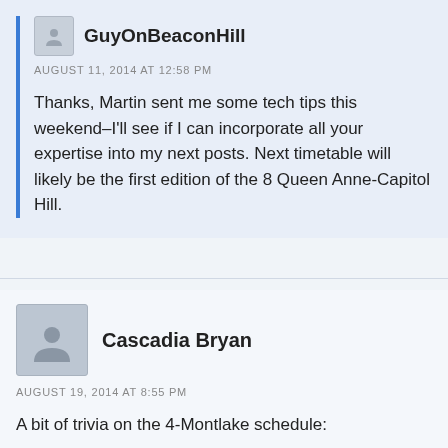GuyOnBeaconHill
AUGUST 11, 2014 AT 12:58 PM
Thanks, Martin sent me some tech tips this weekend–I'll see if I can incorporate all your expertise into my next posts. Next timetable will likely be the first edition of the 8 Queen Anne-Capitol Hill.
Cascadia Bryan
AUGUST 19, 2014 AT 8:55 PM
A bit of trivia on the 4-Montlake schedule: